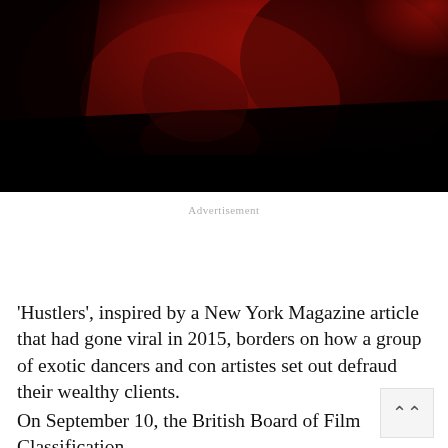[Figure (photo): Dark red-toned close-up photograph of a person's face, partially obscured in shadow with a deep red background. The lower portion fades to black.]
Advertisement
'Hustlers', inspired by a New York Magazine article that had gone viral in 2015, borders on how a group of exotic dancers and con artistes set out defraud their wealthy clients.
On September 10, the British Board of Film Classification